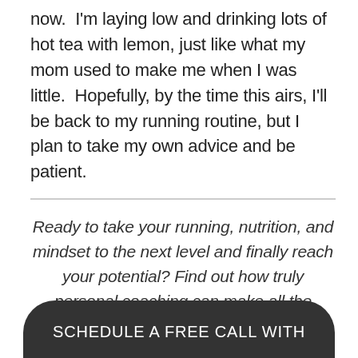now.  I'm laying low and drinking lots of hot tea with lemon, just like what my mom used to make me when I was little.  Hopefully, by the time this airs, I'll be back to my running routine, but I plan to take my own advice and be patient.
Ready to take your running, nutrition, and mindset to the next level and finally reach your potential? Find out how truly personal coaching can make all the difference.
SCHEDULE A FREE CALL WITH